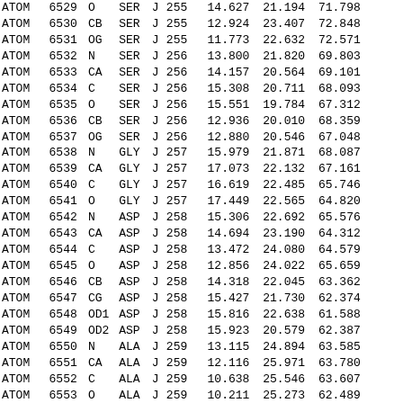| Record | Serial | Atom | Res | Chain | ResSeq |  | X | Y | Z | ... |
| --- | --- | --- | --- | --- | --- | --- | --- | --- | --- | --- |
| ATOM | 6529 | O | SER | J | 255 |  | 14.627 | 21.194 | 71.798 |  |
| ATOM | 6530 | CB | SER | J | 255 |  | 12.924 | 23.407 | 72.848 |  |
| ATOM | 6531 | OG | SER | J | 255 |  | 11.773 | 22.632 | 72.571 |  |
| ATOM | 6532 | N | SER | J | 256 |  | 13.800 | 21.820 | 69.803 |  |
| ATOM | 6533 | CA | SER | J | 256 |  | 14.157 | 20.564 | 69.101 |  |
| ATOM | 6534 | C | SER | J | 256 |  | 15.308 | 20.711 | 68.093 |  |
| ATOM | 6535 | O | SER | J | 256 |  | 15.551 | 19.784 | 67.312 |  |
| ATOM | 6536 | CB | SER | J | 256 |  | 12.936 | 20.010 | 68.359 |  |
| ATOM | 6537 | OG | SER | J | 256 |  | 12.880 | 20.546 | 67.048 |  |
| ATOM | 6538 | N | GLY | J | 257 |  | 15.979 | 21.871 | 68.087 |  |
| ATOM | 6539 | CA | GLY | J | 257 |  | 17.073 | 22.132 | 67.161 |  |
| ATOM | 6540 | C | GLY | J | 257 |  | 16.619 | 22.485 | 65.746 |  |
| ATOM | 6541 | O | GLY | J | 257 |  | 17.449 | 22.565 | 64.820 |  |
| ATOM | 6542 | N | ASP | J | 258 |  | 15.306 | 22.692 | 65.576 |  |
| ATOM | 6543 | CA | ASP | J | 258 |  | 14.694 | 23.190 | 64.312 |  |
| ATOM | 6544 | C | ASP | J | 258 |  | 13.472 | 24.080 | 64.579 |  |
| ATOM | 6545 | O | ASP | J | 258 |  | 12.856 | 24.022 | 65.659 |  |
| ATOM | 6546 | CB | ASP | J | 258 |  | 14.318 | 22.045 | 63.362 |  |
| ATOM | 6547 | CG | ASP | J | 258 |  | 15.427 | 21.730 | 62.374 |  |
| ATOM | 6548 | OD1 | ASP | J | 258 |  | 15.816 | 22.638 | 61.588 |  |
| ATOM | 6549 | OD2 | ASP | J | 258 |  | 15.923 | 20.579 | 62.387 |  |
| ATOM | 6550 | N | ALA | J | 259 |  | 13.115 | 24.894 | 63.585 |  |
| ATOM | 6551 | CA | ALA | J | 259 |  | 12.116 | 25.971 | 63.780 |  |
| ATOM | 6552 | C | ALA | J | 259 |  | 10.638 | 25.546 | 63.607 |  |
| ATOM | 6553 | O | ALA | J | 259 |  | 10.211 | 25.273 | 62.489 |  |
| ATOM | 6554 | CB | ALA | J | 259 |  | 12.453 | 27.192 | 62.861 |  |
| ATOM | 6555 | N | LYS | J | 260 |  | 9.878 | 25.497 | 64.707 |  |
| ATOM | 6556 | CA | LYS | J | 260 |  | 8.420 | 25.305 | 64.640 |  |
| ATOM | 6557 | C | LYS | J | 260 |  | 7.675 | 26.595 | 65.057 |  |
| ATOM | 6558 | O | LYS | J | 260 |  | 7.269 | 26.897 | 66.253 |  |